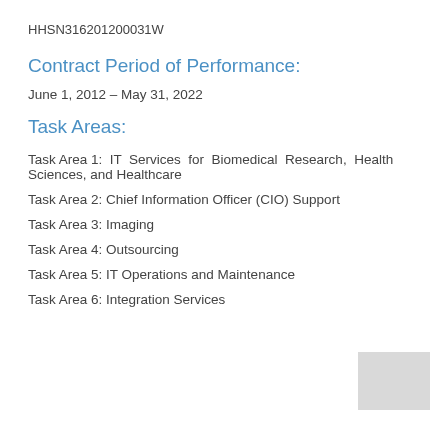HHSN316201200031W
Contract Period of Performance:
June 1, 2012 – May 31, 2022
Task Areas:
Task Area 1: IT Services for Biomedical Research, Health Sciences, and Healthcare
Task Area 2: Chief Information Officer (CIO) Support
Task Area 3: Imaging
Task Area 4: Outsourcing
Task Area 5: IT Operations and Maintenance
Task Area 6: Integration Services